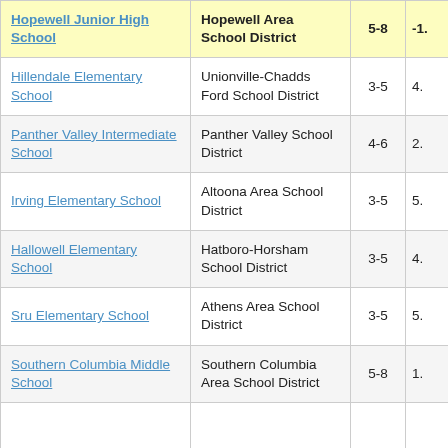| School | District | Grades | Value |
| --- | --- | --- | --- |
| Hopewell Junior High School | Hopewell Area School District | 5-8 | -1. |
| Hillendale Elementary School | Unionville-Chadds Ford School District | 3-5 | 4. |
| Panther Valley Intermediate School | Panther Valley School District | 4-6 | 2. |
| Irving Elementary School | Altoona Area School District | 3-5 | 5. |
| Hallowell Elementary School | Hatboro-Horsham School District | 3-5 | 4. |
| Sru Elementary School | Athens Area School District | 3-5 | 5. |
| Southern Columbia Middle School | Southern Columbia Area School District | 5-8 | 1. |